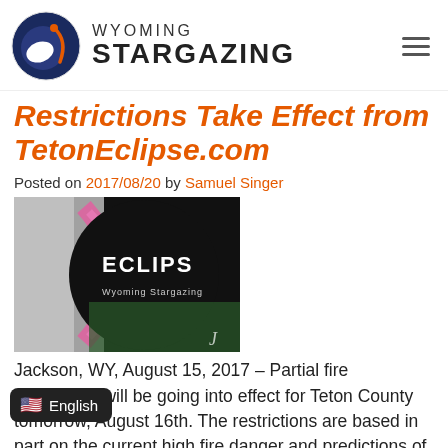WYOMING STARGAZING
Restrictions Take Effect from TetonEclipse.com
Posted on 2017/08/20 by Samuel Singer
[Figure (photo): Eclipse photo showing solar corona with pink prominence and dark overlay text reading ECLIPSE and Wyoming Stargazing branding]
Jackson, WY, August 15, 2017 – Partial fire restrictions will be going into effect for Teton County tomorrow, August 16th. The restrictions are based in part on the current high fire danger and predictions of continued warm and dry weather. Other relevant factors include increased